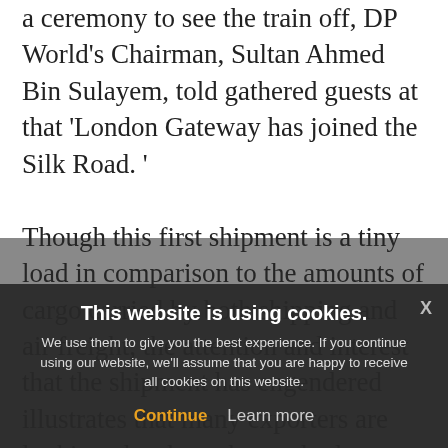a ceremony to see the train off, DP World's Chairman, Sultan Ahmed Bin Sulayem, told gathered guests at that 'London Gateway has joined the Silk Road. ' Though this first shipment is a tiny load in comparison to the amounts of cargo carried by both shipping and air freight, the attention and interest that the shipment has engendered illustrates that many exporters are looking closely at the method as a possible useful addition to freight services between Asia and Europe. This particular train will make calls in Germany, Poland, Belarus, Russia and Kazakhstan before arriving at Yiwu in eastern... the possibility of extending not just to China but to... the route
This website is using cookies. We use them to give you the best experience. If you continue using our website, we'll assume that you are happy to receive all cookies on this website.